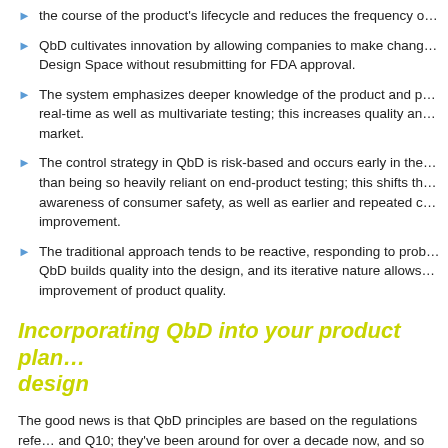the course of the product's lifecycle and reduces the frequency o...
QbD cultivates innovation by allowing companies to make chang... Design Space without resubmitting for FDA approval.
The system emphasizes deeper knowledge of the product and p... real-time as well as multivariate testing; this increases quality an... market.
The control strategy in QbD is risk-based and occurs early in the... than being so heavily reliant on end-product testing; this shifts th... awareness of consumer safety, as well as earlier and repeated c... improvement.
The traditional approach tends to be reactive, responding to prob... QbD builds quality into the design, and its iterative nature allows... improvement of product quality.
Incorporating QbD into your product plan... design
The good news is that QbD principles are based on the regulations refe... and Q10; they've been around for over a decade now, and so are often... companies in the Life Sciences industry.